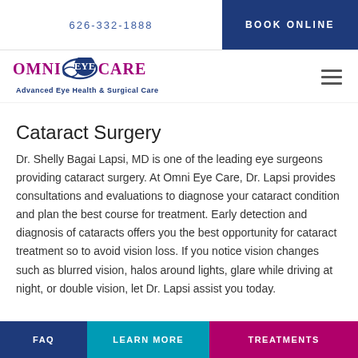626-332-1888
BOOK ONLINE
[Figure (logo): Omni Eye Care logo with eye graphic and tagline 'Advanced Eye Health & Surgical Care']
Cataract Surgery
Dr. Shelly Bagai Lapsi, MD is one of the leading eye surgeons providing cataract surgery. At Omni Eye Care, Dr. Lapsi provides consultations and evaluations to diagnose your cataract condition and plan the best course for treatment. Early detection and diagnosis of cataracts offers you the best opportunity for cataract treatment so to avoid vision loss. If you notice vision changes such as blurred vision, halos around lights, glare while driving at night, or double vision, let Dr. Lapsi assist you today.
FAQ | LEARN MORE | TREATMENTS